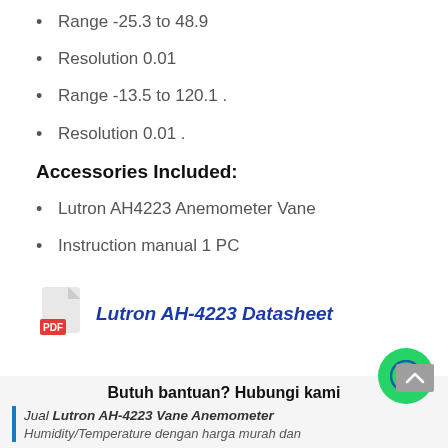Range -25.3 to 48.9
Resolution 0.01
Range -13.5 to 120.1 .
Resolution 0.01 .
Accessories Included:
Lutron AH4223 Anemometer Vane
Instruction manual 1 PC
[Figure (other): PDF icon with document page graphic and red PDF label badge]
Lutron AH-4223 Datasheet
Butuh bantuan? Hubungi kami
Jual Lutron AH-4223 Vane Anemometer Humidity/Temperature dengan harga murah dan